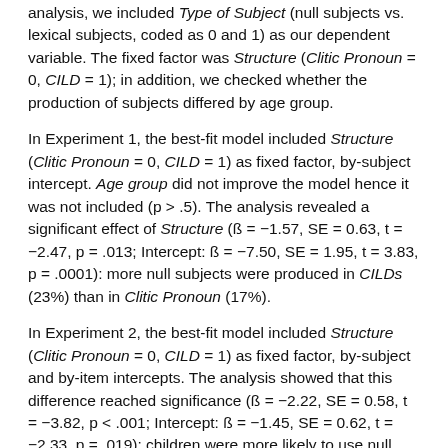analysis, we included Type of Subject (null subjects vs. lexical subjects, coded as 0 and 1) as our dependent variable. The fixed factor was Structure (Clitic Pronoun = 0, CILD = 1); in addition, we checked whether the production of subjects differed by age group.
In Experiment 1, the best-fit model included Structure (Clitic Pronoun = 0, CILD = 1) as fixed factor, by-subject intercept. Age group did not improve the model hence it was not included (p > .5). The analysis revealed a significant effect of Structure (ß = −1.57, SE = 0.63, t = −2.47, p = .013; Intercept: ß = −7.50, SE = 1.95, t = 3.83, p = .0001): more null subjects were produced in CILDs (23%) than in Clitic Pronoun (17%).
In Experiment 2, the best-fit model included Structure (Clitic Pronoun = 0, CILD = 1) as fixed factor, by-subject and by-item intercepts. The analysis showed that this difference reached significance (ß = −2.22, SE = 0.58, t = −3.82, p < .001; Intercept: ß = −1.45, SE = 0.62, t = −2.33, p = .019): children were more likely to use null subjects in CILDs, namely when the left-dislocated object was overt (152, 80%), compared to Clitic Pronoun structures (168...